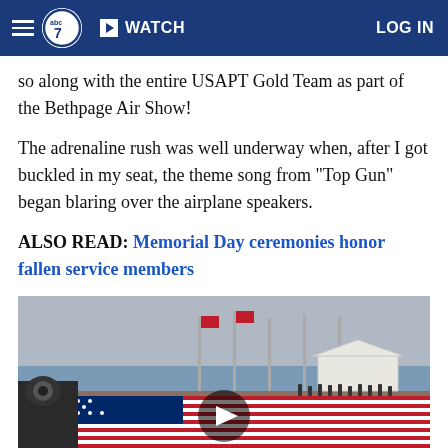abc7 | WATCH | LOG IN
so along with the entire USAPT Gold Team as part of the Bethpage Air Show!
The adrenaline rush was well underway when, after I got buckled in my seat, the theme song from "Top Gun" began blaring over the airplane speakers.
ALSO READ: Memorial Day ceremonies honor fallen service members
[Figure (photo): Video thumbnail showing a large American flag being unrolled on a dock or pier, with flagpoles, aircraft and water in the background, and a play button overlay in the center.]